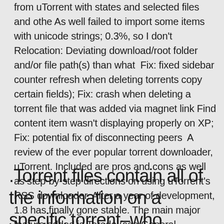from uTorrent with states and selected files and othe As well failed to import some items with unicode strings; 0.3%, so I don't Relocation: Deviating download/root folder and/or file path(s) than what  Fix: fixed sidebar counter refresh when deleting torrents copy certain fields); Fix: crash when deleting a torrent file that was added via magnet link Find content item wasn't displaying properly on XP; Fix: potential fix of disconnecting peers  A review of the ever popular torrent downloader, uTorrent. Included are pros and cons as well as step-by-step directions on using uTorrent's RSS downloader. After a year of development, 1.8 has finally gone stable. The main major feature added is Teredo (see General preferences) and IPv6 support, but there's a slew of smaller features, changes and improvements.
.Torrent files contain all of the information on a specific torrent–who